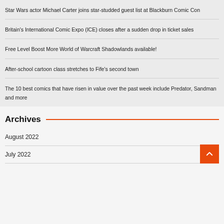Star Wars actor Michael Carter joins star-studded guest list at Blackburn Comic Con
Britain's International Comic Expo (ICE) closes after a sudden drop in ticket sales
Free Level Boost More World of Warcraft Shadowlands available!
After-school cartoon class stretches to Fife's second town
The 10 best comics that have risen in value over the past week include Predator, Sandman and more
Archives
August 2022
July 2022